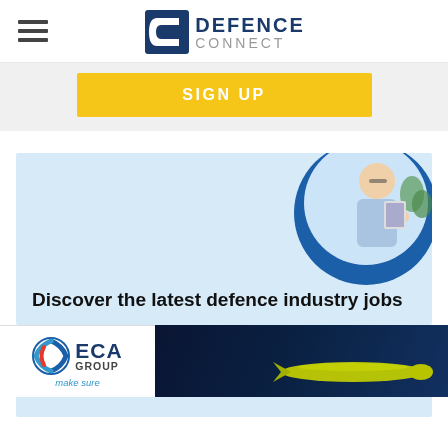[Figure (logo): Defence Connect logo with hamburger menu icon on left. Logo shows a stylized C bracket icon in blue with DEFENCE CONNECT text.]
[Figure (other): Yellow SIGN UP button on light grey background]
[Figure (illustration): Light blue card advertisement showing a circular photo of a man reading/using a tablet, with text 'Discover the latest defence industry jobs' in bold black]
Discover the latest defence industry jobs
[Figure (logo): ECA GROUP advertisement banner with logo on white background on left, and dark navy blue background with a yellow-green torpedo/underwater vehicle on right]